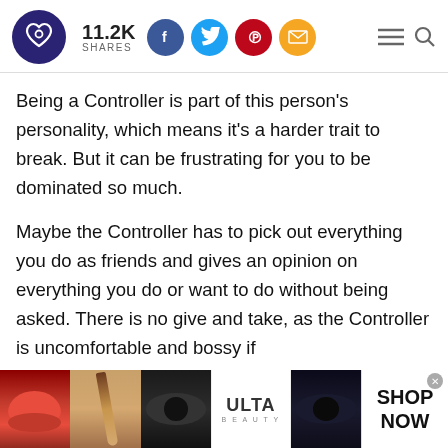11.2K SHARES
Being a Controller is part of this person's personality, which means it's a harder trait to break. But it can be frustrating for you to be dominated so much.
Maybe the Controller has to pick out everything you do as friends and gives an opinion on everything you do or want to do without being asked. There is no give and take, as the Controller is uncomfortable and bossy if
[Figure (photo): Advertisement banner with beauty/makeup images including lips, makeup brush, eye, Ulta Beauty logo, and eye, with SHOP NOW call to action]